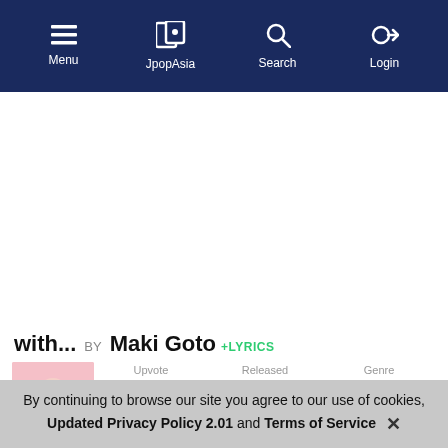Menu | JpopAsia | Search | Login
[Figure (other): Advertisement placeholder area (white space)]
with... BY Maki Goto +LYRICS
[Figure (photo): Album cover thumbnail showing a woman with a heart shape, pink background]
Upvote ↑ 0
Released 16 Sep 2000
Genre Jpop
By continuing to browse our site you agree to our use of cookies, Updated Privacy Policy 2.01 and Terms of Service ✕